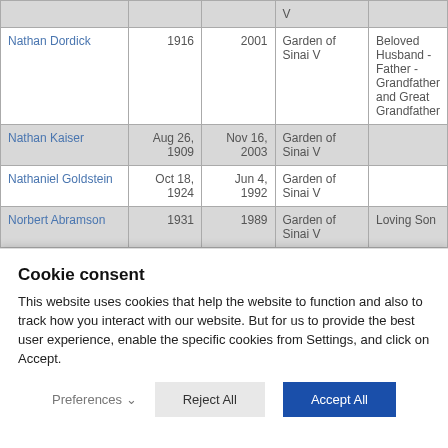| Name | Born | Died | Location | Notes |
| --- | --- | --- | --- | --- |
|  |  |  | V |  |
| Nathan Dordick | 1916 | 2001 | Garden of Sinai V | Beloved Husband - Father - Grandfather and Great Grandfather |
| Nathan Kaiser | Aug 26, 1909 | Nov 16, 2003 | Garden of Sinai V |  |
| Nathaniel Goldstein | Oct 18, 1924 | Jun 4, 1992 | Garden of Sinai V |  |
| Norbert Abramson | 1931 | 1989 | Garden of Sinai V | Loving Son |
| Norma Wilkins | 1928 | 2006 | Garden of Sinai V |  |
|  |  |  | Garden |  |
Cookie consent
This website uses cookies that help the website to function and also to track how you interact with our website. But for us to provide the best user experience, enable the specific cookies from Settings, and click on Accept.